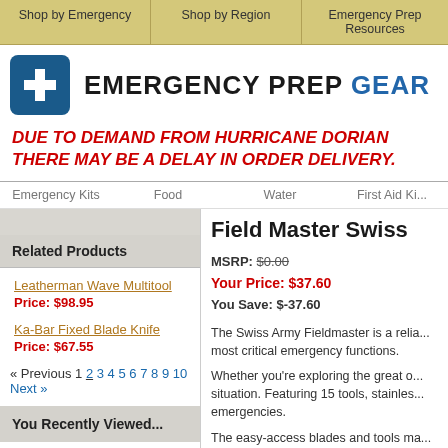Shop by Emergency | Shop by Region | Emergency Prep Resources
[Figure (logo): Emergency Prep Gear logo with blue cross icon and text EMERGENCY PREP GEAR]
DUE TO DEMAND FROM HURRICANE DORIAN THERE MAY BE A DELAY IN ORDER DELIVERY.
Emergency Kits | Food | Water | First Aid Ki...
Related Products
Field Master Swiss
MSRP: $0.00
Your Price: $37.60
You Save: $-37.60
Leatherman Wave Multitool - Price: $98.95
Ka-Bar Fixed Blade Knife - Price: $67.55
« Previous 1 2 3 4 5 6 7 8 9 10 Next »
You Recently Viewed...
The Swiss Army Fieldmaster is a reliable tool for the most critical emergency functions.
Whether you're exploring the great outdoors or in an emergency situation. Featuring 15 tools, stainless steel construction for emergencies.
The easy-access blades and tools ma...